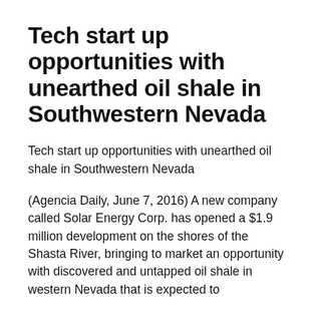Tech start up opportunities with unearthed oil shale in Southwestern Nevada
Tech start up opportunities with unearthed oil shale in Southwestern Nevada
(Agencia Daily, June 7, 2016) A new company called Solar Energy Corp. has opened a $1.9 million development on the shores of the Shasta River, bringing to market an opportunity with discovered and untapped oil shale in western Nevada that is expected to